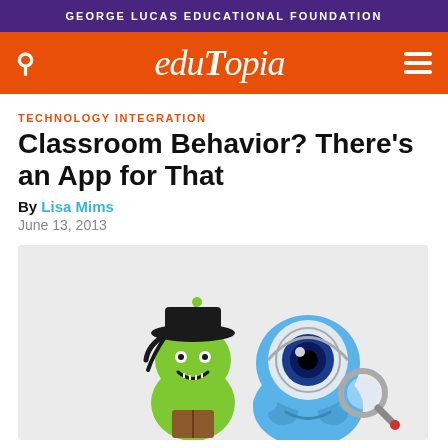GEORGE LUCAS EDUCATIONAL FOUNDATION
edutopia
TECHNOLOGY INTEGRATION
Classroom Behavior? There's an App for That
By Lisa Mims
June 13, 2013
[Figure (illustration): Two cartoon monster characters on a light gray background — a green alien-like creature with a black hat and a blue round creature with a large eye holding a magnifying glass]